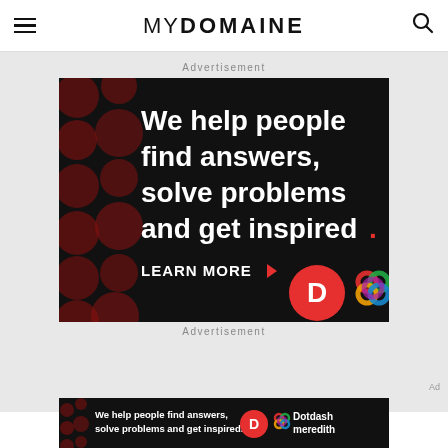MyDomaine
Advertisement
[Figure (illustration): Dotdash Meredith advertisement on black background with dark red bokeh dots. Text reads: We help people find answers, solve problems and get inspired. LEARN MORE. Shows Dotdash D logo and Meredith colorful knot logo.]
Advertisement
Ad
[Figure (illustration): Smaller Dotdash Meredith banner ad: We help people find answers, solve problems and get inspired. With Dotdash D logo and Dotdash meredith text logo.]